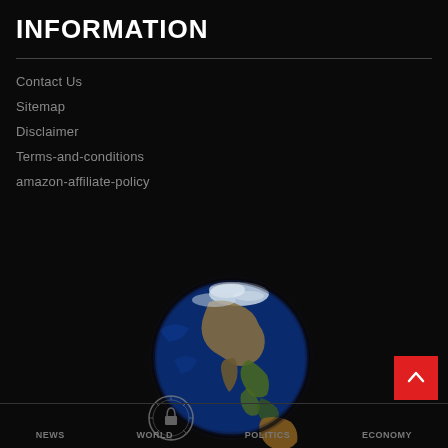INFORMATION
Contact Us
Sitemap
Disclaimer
Terms-and-conditions
amazon-affiliate-policy
[Figure (illustration): 3D rendered globe showing Asia-Pacific region with blue oceans and continental landmasses, on a black background. A circular watermark/seal is visible at lower left of the globe.]
NEWS   WORLD   POLITICS   ECONOMY